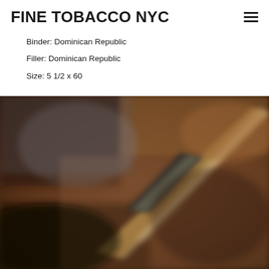FINE TOBACCO NYC
Binder: Dominican Republic
Filler: Dominican Republic
Size: 5 1/2 x 60
[Figure (photo): Blurred close-up photo of a cigar on a wooden surface, showing the cigar band and body with warm brown tones]